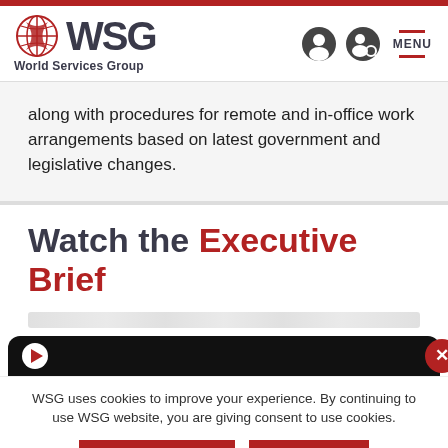WSG World Services Group
along with procedures for remote and in-office work arrangements based on latest government and legislative changes.
Watch the Executive Brief
[Figure (screenshot): Partially visible video player with dark background and play button]
WSG uses cookies to improve your experience. By continuing to use WSG website, you are giving consent to use cookies.
LEARN MORE | I AGREE